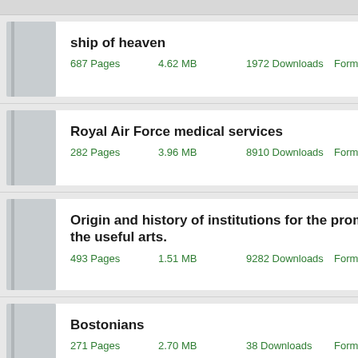ship of heaven
687 Pages   4.62 MB   1972 Downloads   Format: PDF
Royal Air Force medical services
282 Pages   3.96 MB   8910 Downloads   Format: PDF
Origin and history of institutions for the promotion of the useful arts.
493 Pages   1.51 MB   9282 Downloads   Format: PDF
Bostonians
271 Pages   2.70 MB   38 Downloads   Format: PDF